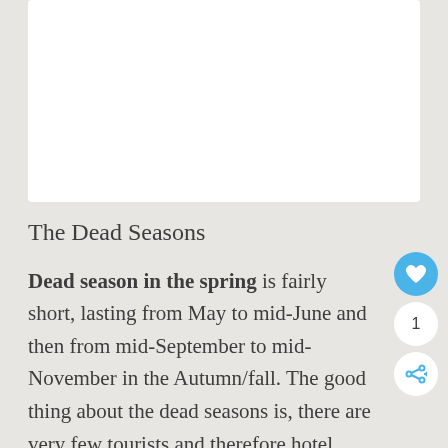[Figure (other): White rectangular box at the top of the page]
The Dead Seasons
Dead season in the spring is fairly short, lasting from May to mid-June and then from mid-September to mid-November in the Autumn/fall. The good thing about the dead seasons is, there are very few tourists and therefore hotel prices are substantially cheaper.